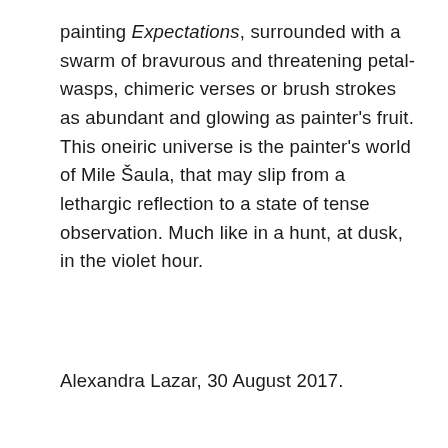painting Expectations, surrounded with a swarm of bravurous and threatening petal-wasps, chimeric verses or brush strokes as abundant and glowing as painter's fruit. This oneiric universe is the painter's world of Mile Šaula, that may slip from a lethargic reflection to a state of tense observation. Much like in a hunt, at dusk, in the violet hour.
Alexandra Lazar, 30 August 2017.